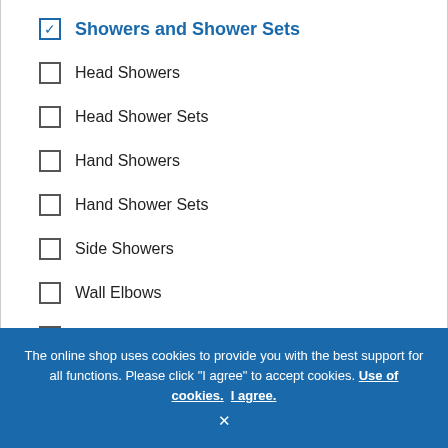☑ Showers and Shower Sets
☐ Head Showers
☐ Head Shower Sets
☐ Hand Showers
☐ Hand Shower Sets
☐ Side Showers
☐ Wall Elbows
☐ Shower Accessories
The online shop uses cookies to provide you with the best support for all functions. Please click "I agree" to accept cookies. Use of cookies. I agree. ×